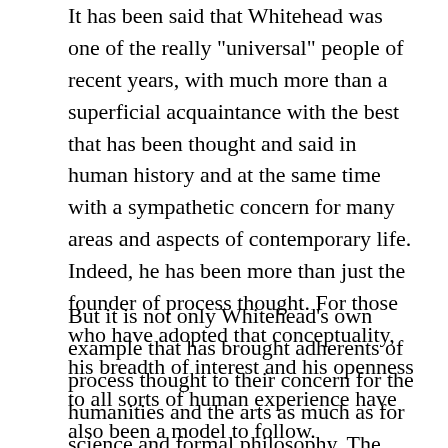It has been said that Whitehead was one of the really "universal" people of recent years, with much more than a superficial acquaintance with the best that has been thought and said in human history and at the same time with a sympathetic concern for many areas and aspects of contemporary life. Indeed, he has been more than just the founder of process thought. For those who have adopted that conceptuality, his breadth of interest and his openness to all sorts of human experience have also been a model to follow.
But it is not only Whitehead's own example that has brought adherents of process thought to their concern for the humanities and the arts as much as for science and formal philosophy. The process perspective is itself an invitation to take these with enjoyment and to recognize their importance. This is because process thought is concerned with analyzing human experience at its deepest and widest, never being content with